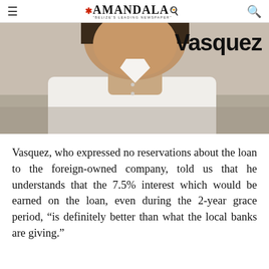Amandala — Belize's Leading Newspaper
[Figure (photo): Close-up photo of a man in a white shirt, with the word 'Vasquez' overlaid in bold black text on the upper right of the image.]
Vasquez, who expressed no reservations about the loan to the foreign-owned company, told us that he understands that the 7.5% interest which would be earned on the loan, even during the 2-year grace period, “is definitely better than what the local banks are giving.”